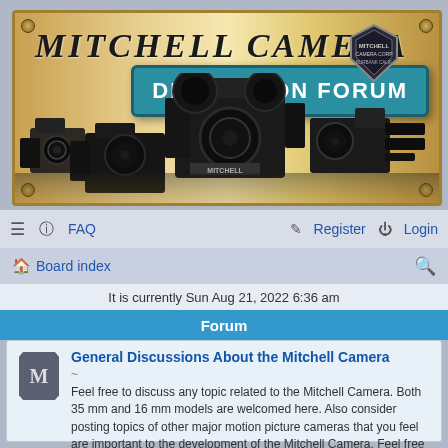[Figure (illustration): Mitchell Camera Discussion Forum banner with vintage cameras displayed on a golden/tan background. Shows multiple Mitchell film cameras and 'DISCUSSION FORUM' text in teal box. Shield badge in upper right.]
≡  FAQ    Register  Login
Board index
It is currently Sun Aug 21, 2022 6:36 am
Forum
General Discussions About the Mitchell Camera
~
Feel free to discuss any topic related to the Mitchell Camera. Both 35 mm and 16 mm models are welcomed here. Also consider posting topics of other major motion picture cameras that you feel are important to the development of the Mitchell Camera. Feel free to upload a photo from the option on each new post.
~
Topics: 133
Mitchell Camera Wanted and For Sale